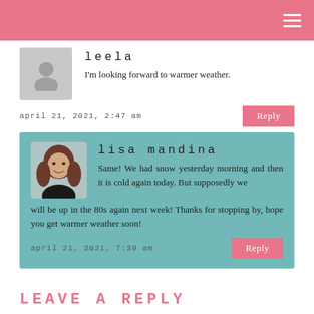leela
I'm looking forward to warmer weather.
april 21, 2021, 2:47 am
lisa mandina
Same! We had snow yesterday morning and then it is cold again today. But supposedly we will be up in the 80s again next week! Thanks for stopping by, hope you get warmer weather soon!
april 21, 2021, 7:39 am
LEAVE A REPLY